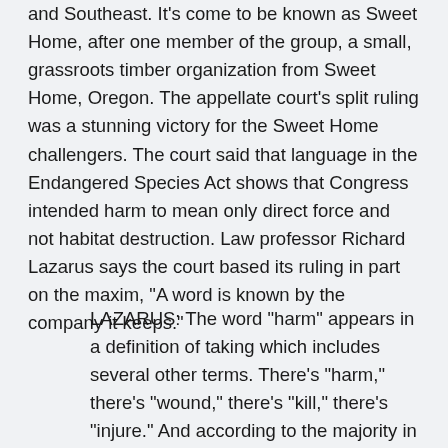and Southeast. It's come to be known as Sweet Home, after one member of the group, a small, grassroots timber organization from Sweet Home, Oregon. The appellate court's split ruling was a stunning victory for the Sweet Home challengers. The court said that language in the Endangered Species Act shows that Congress intended harm to mean only direct force and not habitat destruction. Law professor Richard Lazarus says the court based its ruling in part on the maxim, "A word is known by the company it keeps."
LAZARUS: The word "harm" appears in a definition of taking which includes several other terms. There's "harm," there's "wound," there's "kill," there's "injure." And according to the majority in the court, one has to read the